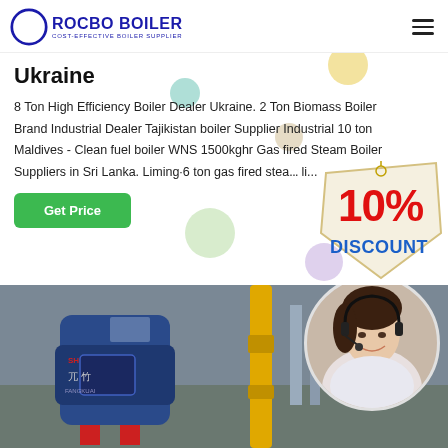[Figure (logo): Rocbo Boiler logo with crescent moon icon and text 'ROCBO BOILER - COST-EFFECTIVE BOILER SUPPLIER']
Ukraine
8 Ton High Efficiency Boiler Dealer Ukraine. 2 Ton Biomass Boiler Brand Industrial Dealer Tajikistan boiler Supplier Industrial 10 ton Maldives - Clean fuel boiler WNS 1500kghr Gas fired Steam Boiler Suppliers in Sri Lanka. Liming·6 ton gas fired stea... li...
[Figure (infographic): 10% Discount badge in red and blue colors on a cream/beige tag shape]
[Figure (photo): Industrial boiler equipment (blue boiler with Chinese markings) and yellow gas pipes in a factory setting, with a customer service woman wearing headset in circular overlay on the right]
Get Price